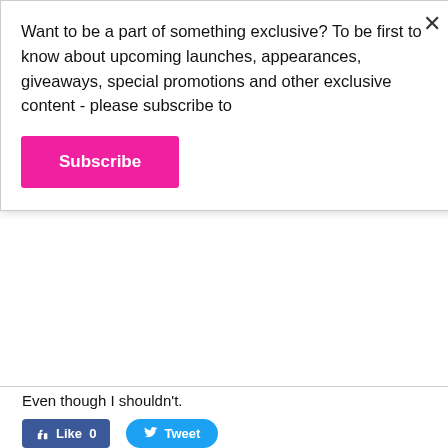Want to be a part of something exclusive? To be first to know about upcoming launches, appearances, giveaways, special promotions and other exclusive content - please subscribe to
Subscribe
Even though I shouldn't.
[Figure (other): Facebook Like button with count 0 and Twitter Tweet button]
0 Comments
LEAVE A REPLY.
Name (required)
Email (not published)